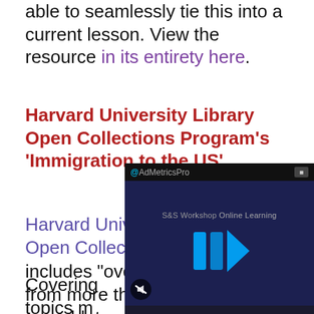able to seamlessly tie this into a current lesson. View the resource in its entirety here.
Harvard University Library Open Collections Program's 'Immigration to the US'
Harvard University's Library Open Collections Program includes "over 400,000 pages from more than 2,200 books, pamphlets, and serials, over 9,600 pages from manuscript and archival collections, and more photographs" that document the history of immigration...
Covering topics more than NETWORK's analysis, access to material...
[Figure (screenshot): AdMetricsPro video ad overlay showing a dark background with cyan play icon and S&S Workshop Online Learning text, with a mute button in the bottom left corner.]